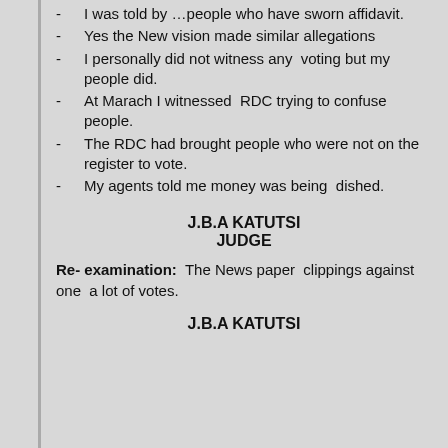- I was told by …people who have sworn affidavit.
- Yes the New vision made similar allegations
- I personally did not witness any voting but my people did.
- At Marach I witnessed RDC trying to confuse people.
- The RDC had brought people who were not on the register to vote.
- My agents told me money was being dished.
J.B.A KATUTSI
JUDGE
Re- examination: The News paper clippings against one a lot of votes.
J.B.A KATUTSI